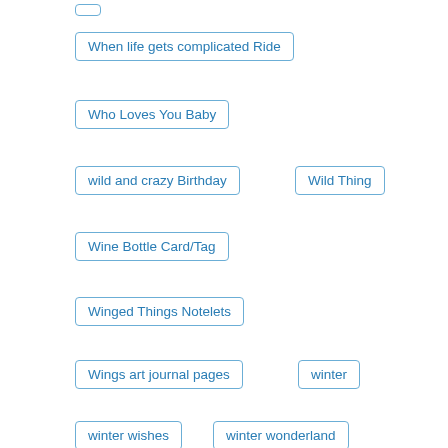When life gets complicated Ride
Who Loves You Baby
wild and crazy Birthday
Wild Thing
Wine Bottle Card/Tag
Winged Things Notelets
Wings art journal pages
winter
winter wishes
winter wonderland
wish big
Wishing a season of wonderful moments
Wishing you a latte Peace Love & Joy
Wishing You A Merry Christmas